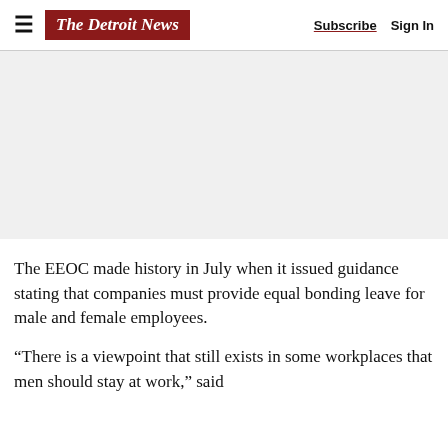The Detroit News | Subscribe | Sign In
[Figure (other): Advertisement / blank gray area]
The EEOC made history in July when it issued guidance stating that companies must provide equal bonding leave for male and female employees.
“There is a viewpoint that still exists in some workplaces that men should stay at work,” said